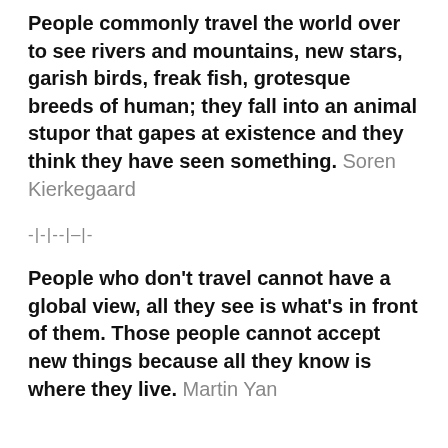People commonly travel the world over to see rivers and mountains, new stars, garish birds, freak fish, grotesque breeds of human; they fall into an animal stupor that gapes at existence and they think they have seen something. Soren Kierkegaard
-|-|--|–|-
People who don't travel cannot have a global view, all they see is what's in front of them. Those people cannot accept new things because all they know is where they live. Martin Yan